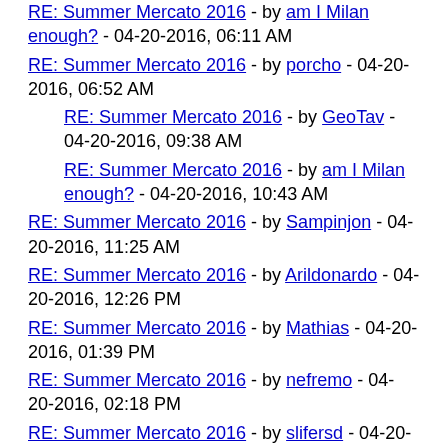RE: Summer Mercato 2016 - by am I Milan enough? - 04-20-2016, 06:11 AM
RE: Summer Mercato 2016 - by porcho - 04-20-2016, 06:52 AM
RE: Summer Mercato 2016 - by GeoTav - 04-20-2016, 09:38 AM
RE: Summer Mercato 2016 - by am I Milan enough? - 04-20-2016, 10:43 AM
RE: Summer Mercato 2016 - by Sampinjon - 04-20-2016, 11:25 AM
RE: Summer Mercato 2016 - by Arildonardo - 04-20-2016, 12:26 PM
RE: Summer Mercato 2016 - by Mathias - 04-20-2016, 01:39 PM
RE: Summer Mercato 2016 - by nefremo - 04-20-2016, 02:18 PM
RE: Summer Mercato 2016 - by slifersd - 04-20-2016, 11:51 PM
RE: Summer Mercato 2016 - by Graeme_C - 04-21-2016, 02:44 PM
RE: Summer Mercato 2016 - by ACM2022 - 04-21-2016, 08:51 PM
RE: Summer Mercato 2016 - by am I Milan enough? - 04-22-2016, 01:54 AM
RE: Summer Mercato 2016 - by porcho - 04-22-2016, 01:57 AM